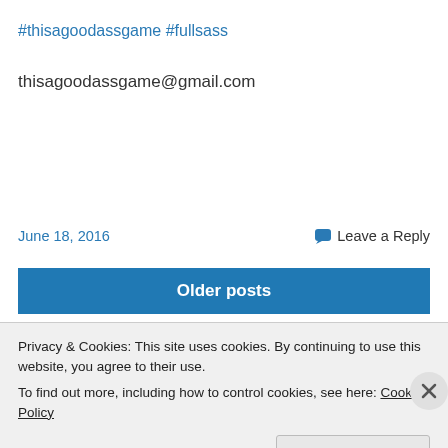#thisagoodassgame #fullsass
thisagoodassgame@gmail.com
June 18, 2016   Leave a Reply
Older posts
Privacy & Cookies: This site uses cookies. By continuing to use this website, you agree to their use.
To find out more, including how to control cookies, see here: Cookie Policy
Close and accept